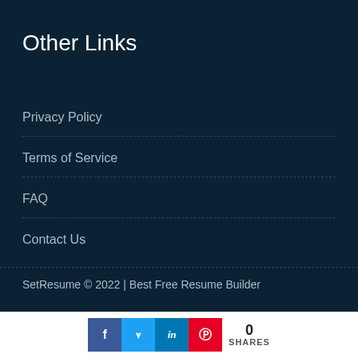Other Links
Privacy Policy
Terms of Service
FAQ
Contact Us
SetResume © 2022  |  Best Free Resume Builder
[Figure (infographic): Social share buttons: Facebook (f), Twitter (bird), LinkedIn (in), Pinterest (p), with share count showing 0 SHARES]